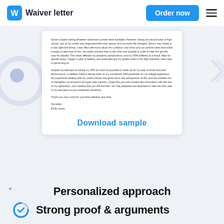Waiver letter | Order now
[Figure (screenshot): Partial view of a waiver letter document showing two paragraphs of body text, a closing, and a Download sample link]
honors student taking whatever advanced courses were available. However, during my second year of high school, one of my uncles was diagnosed with lung cancer, and my entire life changed. Since I was raised in a very tight-knit family, I was filled with worry about his condition, and since only my parents were lived close enough to take care of him, we made constant trips to the clinic and hospital in order to help him get the care he needed. This strain affected my academic performance, and my GPA suffered as a result. After he passed away, I began a year of healing, and eventually got my grades back to the high standard I was used to performing at.
Despite my attempts at raising my GPA as much as possible to make up for my year of strain and poor performance, it indelibly made a lasting mark on my cumulative GPA presented on my college application. My experience dealing with my uncle's illness has given me a new perspective on life, and has enabled me to strengthen my emotions and gain new maturity. I hope that you will consider this information with the rest of my application, and I believe that you will find that I am fully prepared and dedicated to take the next step in my education at your esteemed University.
Thank you very much for your kind attention and time.
Sincerely,
Emily Jones
Download sample
Personalized approach
Strong proof & arguments